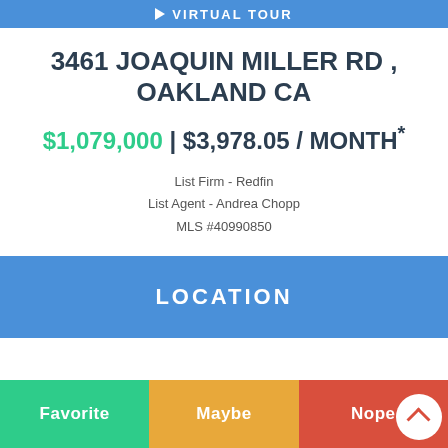VIRTUAL TOUR
3461 JOAQUIN MILLER RD , OAKLAND CA
$1,079,000 | $3,978.05 / MONTH*
List Firm - Redfin
List Agent - Andrea Chopp
MLS #40990850
LOCATION
Favorite  Maybe  Nope